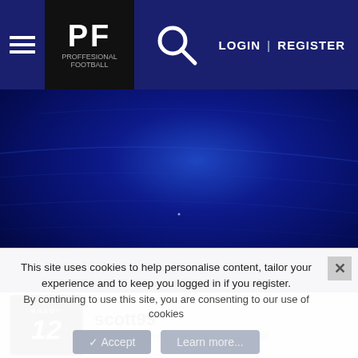Navigation bar with hamburger menu, PF logo, search icon, LOGIN | REGISTER
[Figure (photo): Dark blue textured background hero image, resembling a wet or painted blue surface with subtle lighter streaks and reflections]
scott99
Veteran Starter w/Big Long Term Deal
This site uses cookies to help personalise content, tailor your experience and to keep you logged in if you register.
By continuing to use this site, you are consenting to our use of cookies
✓ Accept   Learn more...